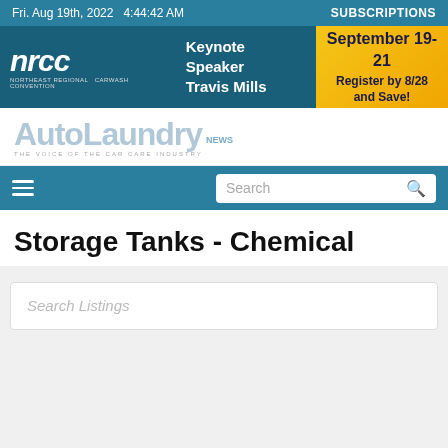Fri. Aug 19th, 2022   4:44:42 AM   SUBSCRIPTIONS
[Figure (infographic): NRCC (Northeast Regional Carwash Convention) banner ad with Keynote Speaker Travis Mills and September 19-21 Register by 8/28 and Save!]
[Figure (logo): AutoLaundry News magazine logo with tagline THE VOICE OF THE CAR CARE INDUSTRY]
Search (navigation bar with hamburger menu and search input)
Storage Tanks - Chemical
Search Listings